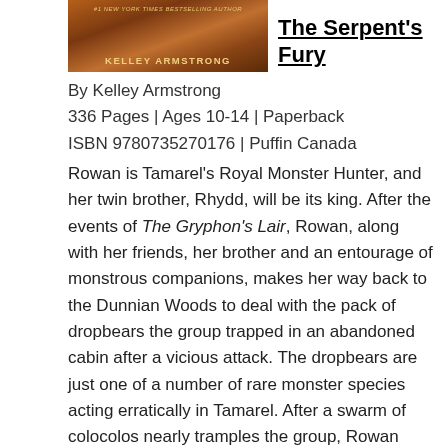[Figure (photo): Book cover of The Serpent's Fury by Kelley Armstrong, showing an orange/brown illustrated cover with the author's name in gold letters]
The Serpent's Fury
By Kelley Armstrong
336 Pages | Ages 10-14 | Paperback
ISBN 9780735270176 | Puffin Canada
Rowan is Tamarel's Royal Monster Hunter, and her twin brother, Rhydd, will be its king. After the events of The Gryphon's Lair, Rowan, along with her friends, her brother and an entourage of monstrous companions, makes her way back to the Dunnian Woods to deal with the pack of dropbears the group trapped in an abandoned cabin after a vicious attack. The dropbears are just one of a number of rare monster species acting erratically in Tamarel. After a swarm of colocolos nearly tramples the group, Rowan becomes convinced that someone (or something) is driving these monsters out of their natural habitats. But nothing can prepare the Royal Monster Hunter for the truth of the matter: monsters even bigger and deadlier than anyone has encountered before could be...